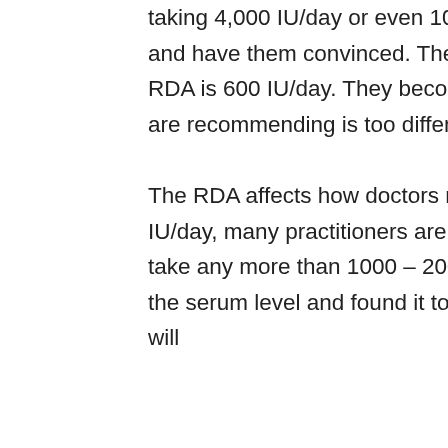taking 4,000 IU/day or even 10,000 IU/day. We give them all the information and have them convinced. Then they go to their doctor and learn that the RDA is 600 IU/day. They become scared and unsure of what to do. What we are recommending is too different from the establishment.
The RDA affects how doctors react to vitamin D. With the RDA set at 600 IU/day, many practitioners are hesitant to recommend that their patients take any more than 1000 – 2000 IU/day, even when they have measured the serum level and found it to be low. At that level of intake, many people will